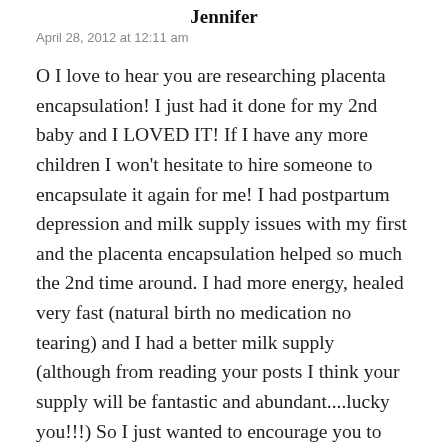Jennifer
April 28, 2012 at 12:11 am
O I love to hear you are researching placenta encapsulation! I just had it done for my 2nd baby and I LOVED IT! If I have any more children I won’t hesitate to hire someone to encapsulate it again for me! I had postpartum depression and milk supply issues with my first and the placenta encapsulation helped so much the 2nd time around. I had more energy, healed very fast (natural birth no medication no tearing) and I had a better milk supply (although from reading your posts I think your supply will be fantastic and abundant....lucky you!!!) So I just wanted to encourage you to keep researching this. I found it to be really...